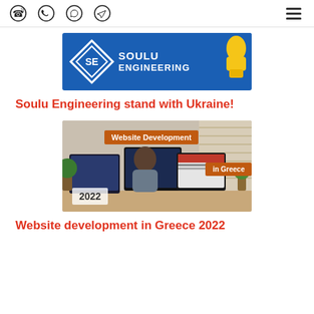Phone | WhatsApp | Viber | Telegram | Menu
[Figure (logo): Soulu Engineering banner — blue background with SE diamond logo and yellow fist illustration, text SOULU ENGINEERING in white]
Soulu Engineering stand with Ukraine!
[Figure (photo): Website Development in Greece 2022 — man sitting at desk with multiple computer monitors, orange banner overlay reading 'Website Development in Greece', white box with '2022']
Website development in Greece 2022